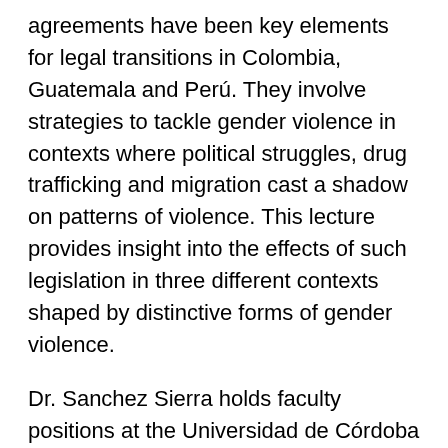agreements have been key elements for legal transitions in Colombia, Guatemala and Perú. They involve strategies to tackle gender violence in contexts where political struggles, drug trafficking and migration cast a shadow on patterns of violence. This lecture provides insight into the effects of such legislation in three different contexts shaped by distinctive forms of gender violence.
Dr. Sanchez Sierra holds faculty positions at the Universidad de Córdoba and the Universidad Nacional de Colombia. A historian, he studied African History at the École des Hautes Etudes en Sciences Sociales (Paris) and International Studies at the Birkbeck College, University of London. He earned a Ph.D. in Social & Political Thought (Virginia Tech, 2011) and was a postdoctoral Fellow at the Centro de Estudios Interdisciplinarios en Ciencias y Humanidades (CEIICH) at the UNAM (Mexico, DF) between 2011-2013. He has